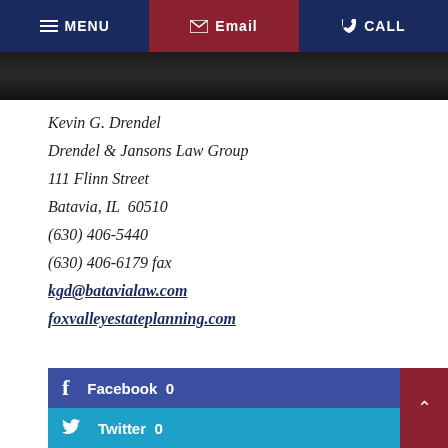MENU  Email  CALL
[Figure (photo): Dark photo strip background image]
Kevin G. Drendel
Drendel & Jansons Law Group
111 Flinn Street
Batavia, IL  60510
(630) 406-5440
(630) 406-6179 fax
kgd@batavialaw.com
foxvalleyestateplanning.com
Facebook  0
Twitter  0